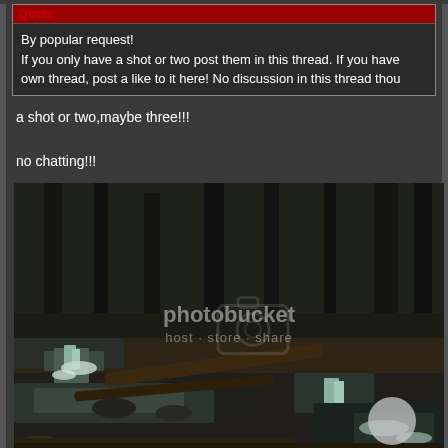Quote:
By popular request!
If you only have a shot or two post them in this thread. If you have own thread, post a like to it here! No discussion in this thread thou
a shot or two,maybe three!!!
no chatting!!!
[Figure (photo): Forest scene with a waterfall and stream running over rocks, fallen logs, dark trees in background. Photobucket watermark overlay in center.]